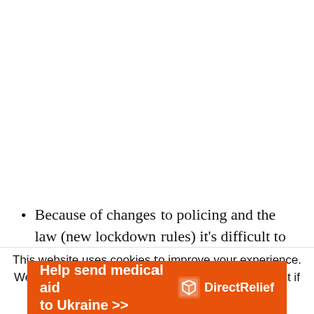Because of changes to policing and the law (new lockdown rules) it's difficult to make a comparison of the underlying crime rate
This website uses cookies to improve your experience. We'll assume you're ok with this, but you can opt-out if
[Figure (other): Orange advertisement banner for Direct Relief: 'Help send medical aid to Ukraine >>' with Direct Relief logo on the right]